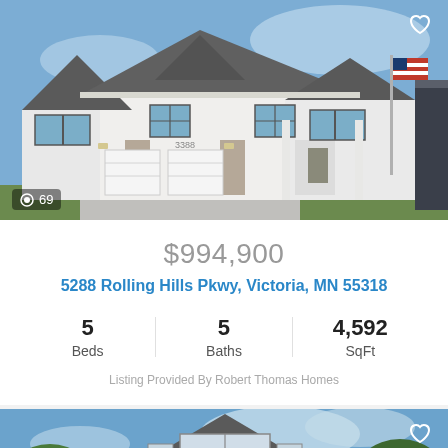[Figure (photo): Exterior photo of a large white two-story craftsman home with dark roof, three-car garage, American flag, photo count badge showing camera icon and 69]
$994,900
5288 Rolling Hills Pkwy, Victoria, MN 55318
5 Beds   5 Baths   4,592 SqFt
Listing Provided By Robert Thomas Homes
[Figure (photo): Exterior photo of a large dark brown craftsman home with trees and blue sky visible]